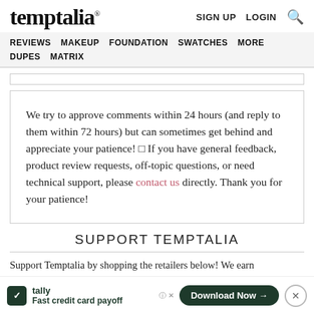temptalia® | SIGN UP  LOGIN  🔍
REVIEWS  MAKEUP  FOUNDATION  SWATCHES  MORE  DUPES  MATRIX
We try to approve comments within 24 hours (and reply to them within 72 hours) but can sometimes get behind and appreciate your patience! 🙂 If you have general feedback, product review requests, off-topic questions, or need technical support, please contact us directly. Thank you for your patience!
SUPPORT TEMPTALIA
Support Temptalia by shopping the retailers below! We earn commission on sales tracked from our links. Thank you!
Tally — Fast credit card payoff — Download Now →